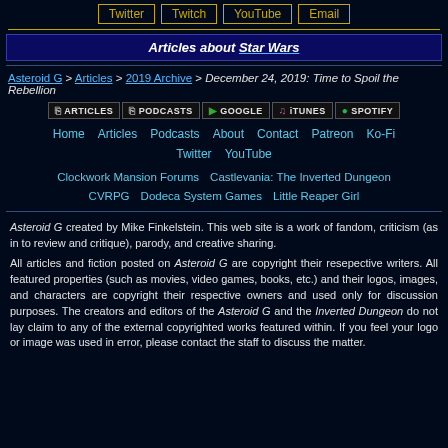Twitter  Twitch  YouTube  Email
Articles about Star Wars
Asteroid G > Articles > 2019 Archive > December 24, 2019: Time to Spoil the Rebellion
ARTICLES  PODCASTS  GOOGLE  iTunes  SPOTIFY
Home  Articles  Podcasts  About  Contact  Patreon  Ko-Fi  Twitter  YouTube
Clockwork Mansion Forums  Castlevania: The Inverted Dungeon  CVRPG  Dodeca System Games  Little Reaper Girl
Asteroid G created by Mike Finkelstein. This web site is a work of fandom, criticism (as in to review and critique), parody, and creative sharing.
All articles and fiction posted on Asteroid G are copyright their resepective writers. All featured properties (such as movies, video games, books, etc.) and their logos, images, and characters are copyright their respective owners and used only for discussion purposes. The creators and editors of the Asteroid G and the Inverted Dungeon do not lay claim to any of the external copyrighted works featured within. If you feel your logo or image was used in error, please contact the staff to discuss the matter.